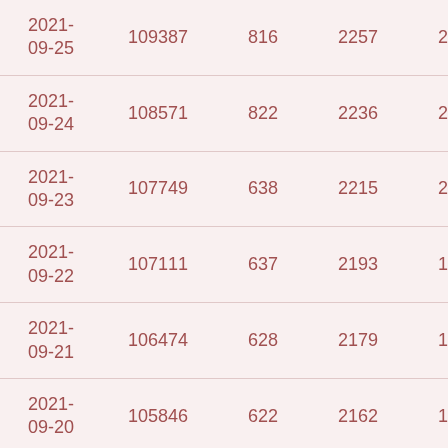| 2021-09-25 | 109387 | 816 | 2257 | 21 |
| 2021-09-24 | 108571 | 822 | 2236 | 21 |
| 2021-09-23 | 107749 | 638 | 2215 | 22 |
| 2021-09-22 | 107111 | 637 | 2193 | 14 |
| 2021-09-21 | 106474 | 628 | 2179 | 17 |
| 2021-09-20 | 105846 | 622 | 2162 | 14 |
| 2021-09-19 | 105224 | 612 | 2148 | 13 |